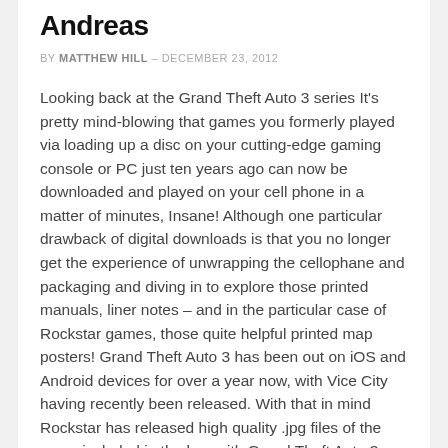Andreas
BY MATTHEW HILL – DECEMBER 23, 2012
Looking back at the Grand Theft Auto 3 series It's pretty mind-blowing that games you formerly played via loading up a disc on your cutting-edge gaming console or PC just ten years ago can now be downloaded and played on your cell phone in a matter of minutes, Insane! Although one particular drawback of digital downloads is that you no longer get the experience of unwrapping the cellophane and packaging and diving in to explore those printed manuals, liner notes – and in the particular case of Rockstar games, those quite helpful printed map posters! Grand Theft Auto 3 has been out on iOS and Android devices for over a year now, with Vice City having recently been released. With that in mind Rockstar has released high quality .jpg files of the maps included in the box with Grand Theft Auto 3, Vice City